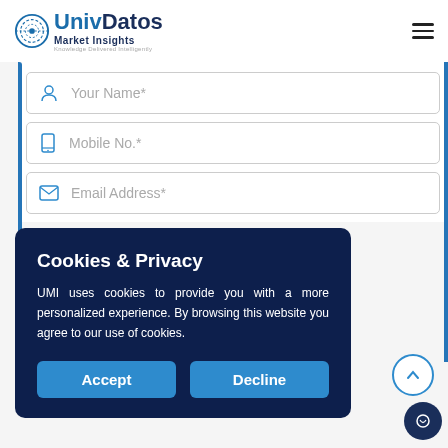UnivDatos Market Insights — Knowledge Delivered Intelligently
Your Name*
Mobile No.*
Email Address*
Cookies & Privacy
UMI uses cookies to provide you with a more personalized experience. By browsing this website you agree to our use of cookies.
Accept
Decline